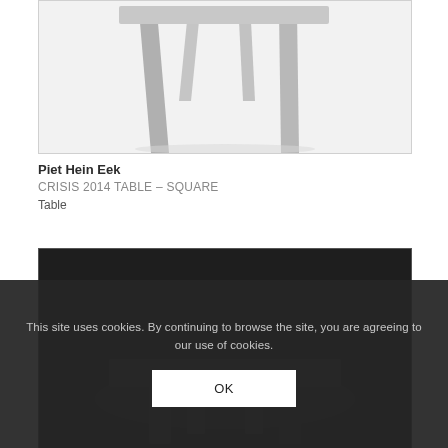[Figure (photo): Product photo of a square table (Crisis 2014 Table by Piet Hein Eek) showing the underside with grey tapered legs on a white background, partially cropped at top.]
Piet Hein Eek
CRISIS 2014 TABLE – SQUARE
Table
[Figure (photo): Product photo showing a dark table, partially visible, on dark background, bottom portion of page obscured by cookie consent overlay.]
This site uses cookies. By continuing to browse the site, you are agreeing to our use of cookies.
OK